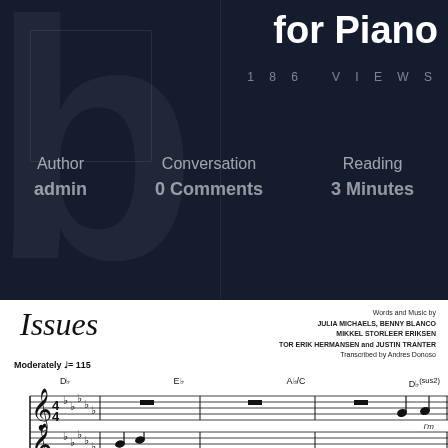for Piano
186 VIEWS
Author
admin
Conversation
0 Comments
Reading
3 Minutes
Issues
Words and Music by JULIA MICHAELS, BENNY BLANCO MIKKEL STORLEER ERIKSEN TOR ERIK HERMANSEN and JUSTIN TRANTER Transcribed by Andres Donoso
Moderately ♩= 115
Db  Eb  Ab/C  Db(sus2)
[Figure (music-score): Piano sheet music showing two staves in treble clef with 4/4 time signature and 5 flats key signature. First measure has rests, subsequent measures show notes. Text 'I'm' appears above the second staff.]